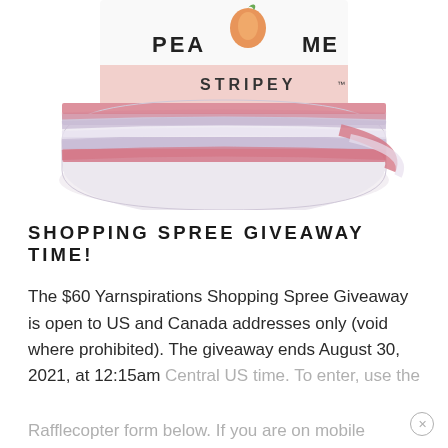[Figure (photo): A skein of Patons Peaches & Creme Stripey yarn in pink, lavender, and white stripes, with the label visible showing 'PEA[CHES & CRE]ME' and 'STRIPEY' on a pink band.]
SHOPPING SPREE GIVEAWAY TIME!
The $60 Yarnspirations Shopping Spree Giveaway is open to US and Canada addresses only (void where prohibited). The giveaway ends August 30, 2021, at 12:15am Central US time. To enter, use the Rafflecopter form below. If you are on mobile